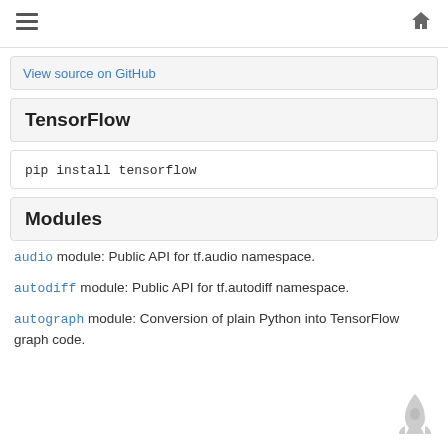≡  🏠
View source on GitHub
TensorFlow
pip install tensorflow
Modules
audio module: Public API for tf.audio namespace.
autodiff module: Public API for tf.autodiff namespace.
autograph module: Conversion of plain Python into TensorFlow graph code.